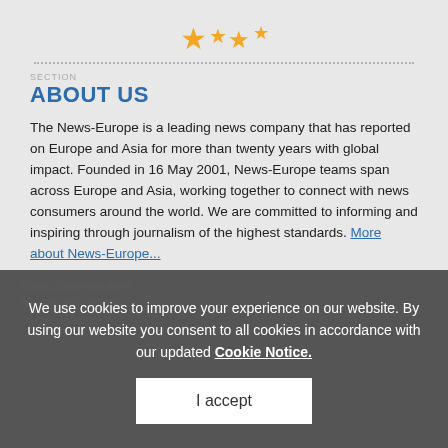[Figure (illustration): EU-style stars (gold/yellow stars) arranged in an arc pattern at the top of the page]
ABOUT US
The News-Europe is a leading news company that has reported on Europe and Asia for more than twenty years with global impact. Founded in 16 May 2001, News-Europe teams span across Europe and Asia, working together to connect with news consumers around the world. We are committed to informing and inspiring through journalism of the highest standards. More about News-Europe...
We use cookies to improve your experience on our website. By using our website you consent to all cookies in accordance with our updated Cookie Notice.
I accept